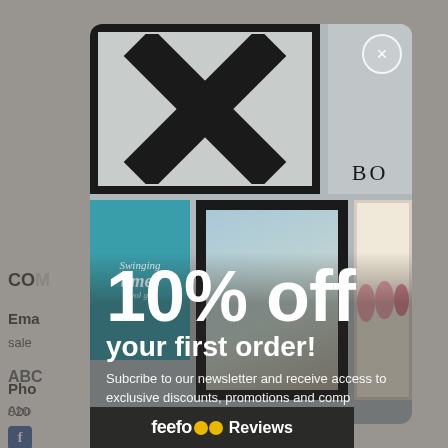[Figure (screenshot): E-commerce website popup modal offering 10% off first order for newsletter subscribers, overlaid on an art print product page. The modal contains a collage of framed artwork images as background. A close (X) button appears in the top right. Large white text reads '10% off' and 'your first order!'. Below is descriptive text about subscribing. A feefo reviews bar appears at the bottom.]
10% off
your first order!
Subcribe to our newsletter and receive access to exclusive discounts, promotions and comp
feefo Reviews